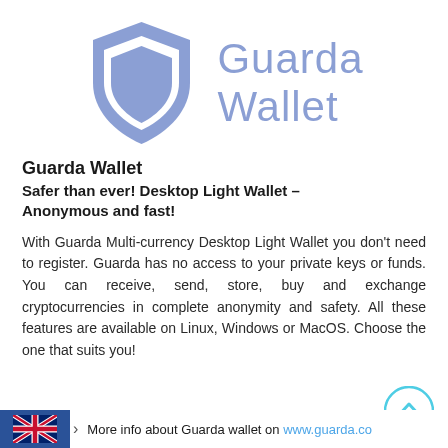[Figure (logo): Guarda Wallet logo: a blue/purple shield icon on the left and 'Guarda Wallet' text in light blue/purple on the right]
Guarda Wallet
Safer than ever! Desktop Light Wallet – Anonymous and fast!
With Guarda Multi-currency Desktop Light Wallet you don't need to register. Guarda has no access to your private keys or funds. You can receive, send, store, buy and exchange cryptocurrencies in complete anonymity and safety. All these features are available on Linux, Windows or MacOS. Choose the one that suits you!
More info about Guarda wallet on www.guarda.co